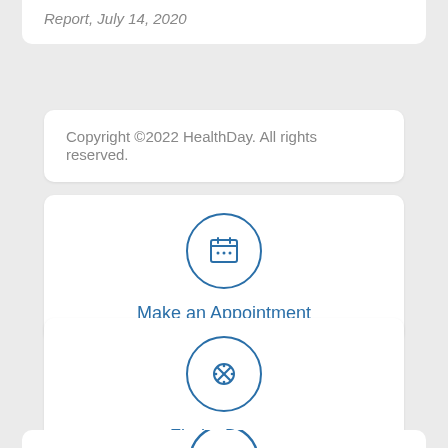Report, July 14, 2020
Copyright ©2022 HealthDay. All rights reserved.
[Figure (illustration): Calendar icon inside a blue circle, with label 'Make an Appointment']
[Figure (illustration): Bandage/band-aid cross icon inside a blue circle, with label 'Find a Doctor']
[Figure (illustration): Partially visible icon inside a blue circle at the bottom of the page]